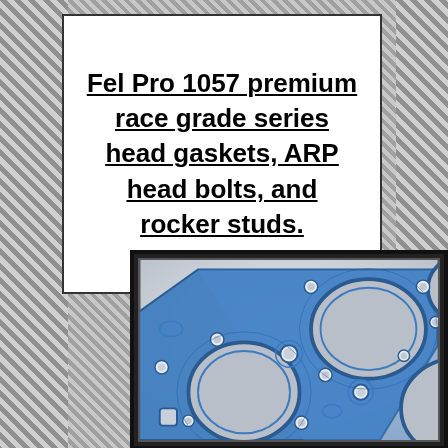Fel Pro 1057 premium race grade series head gaskets, ARP head bolts, and rocker studs.
[Figure (photo): Close-up photo of a blue Fel Pro 1057 premium race grade head gasket showing cylinder bore openings, bolt holes, and coolant passages with blue rubber/silite coating on a light grey metallic background.]